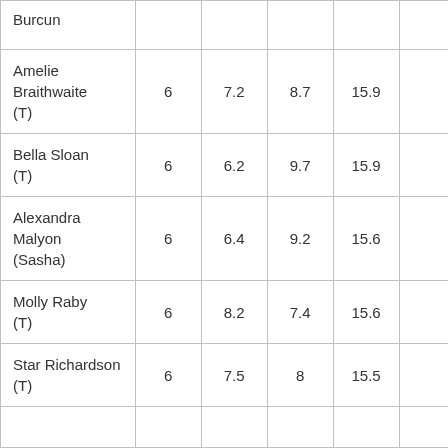| Burcun |  |  |  |  |  |
| Amelie Braithwaite (T) | 6 | 7.2 | 8.7 | 15.9 |  |
| Bella Sloan (T) | 6 | 6.2 | 9.7 | 15.9 |  |
| Alexandra Malyon (Sasha) | 6 | 6.4 | 9.2 | 15.6 |  |
| Molly Raby (T) | 6 | 8.2 | 7.4 | 15.6 |  |
| Star Richardson (T) | 6 | 7.5 | 8 | 15.5 |  |